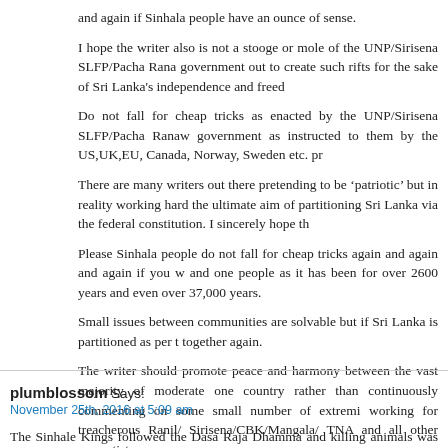and again if Sinhala people have an ounce of sense.
I hope the writer also is not a stooge or mole of the UNP/Sirisena SLFP/Pacha Rana government out to create such rifts for the sake of Sri Lanka's independence and freed…
Do not fall for cheap tricks as enacted by the UNP/Sirisena SLFP/Pacha Ranaw government as instructed to them by the US,UK,EU, Canada, Norway, Sweden etc. pr…
There are many writers out there pretending to be ‘patriotic’ but in reality working hard the ultimate aim of partitioning Sri Lanka via the federal constitution. I sincerely hope th…
Please Sinhala people do not fall for cheap tricks again and again and again if you w and one people as it has been for over 2600 years and even over 37,000 years.
Small issues between communities are solvable but if Sri Lanka is partitioned as per t together again.
The writer should promote peace and harmony between the vast majority of moderate one country rather than continuously commenting on some small number of extremi working for treacherous Ranil/ Sirisena/CBK/Mangala/ TNA and all other separatists.
Beware of those writers out there who are pretending to be ‘patriotic’ but in reality Mangala with the ultimate aim of partitioning Sri Lanka via the federal constitution. I sir…
plumblossom Says:
November 25th, 2016 at 5:09 am
The Sinhale Kings followed the Dasa Raja Dhamma and killing animals was banned by it is completely false since long time ago Sinhala people ate a lot of fish as per the country either historically or in the present day is vegetarian. So as Buddhists and …